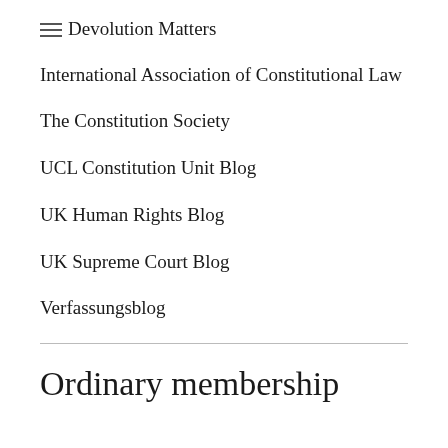Devolution Matters
International Association of Constitutional Law
The Constitution Society
UCL Constitution Unit Blog
UK Human Rights Blog
UK Supreme Court Blog
Verfassungsblog
Ordinary membership